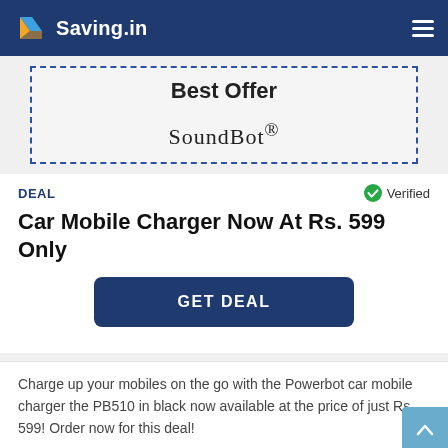Saving.in
Best Offer
[Figure (logo): SoundBot® brand logo text]
DEAL
Verified
Car Mobile Charger Now At Rs. 599 Only
GET DEAL
Charge up your mobiles on the go with the Powerbot car mobile charger the PB510 in black now available at the price of just Rs. 599! Order now for this deal!